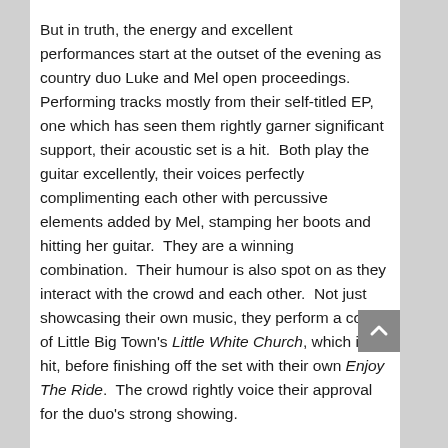But in truth, the energy and excellent performances start at the outset of the evening as country duo Luke and Mel open proceedings.  Performing tracks mostly from their self-titled EP, one which has seen them rightly garner significant support, their acoustic set is a hit.  Both play the guitar excellently, their voices perfectly complimenting each other with percussive elements added by Mel, stamping her boots and hitting her guitar.  They are a winning combination.  Their humour is also spot on as they interact with the crowd and each other.  Not just showcasing their own music, they perform a cover of Little Big Town's Little White Church, which is a hit, before finishing off the set with their own Enjoy The Ride.  The crowd rightly voice their approval for the duo's strong showing.